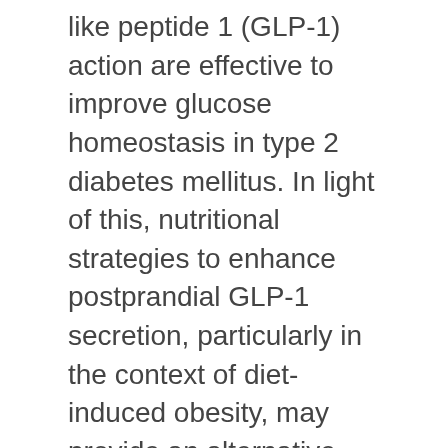like peptide 1 (GLP-1) action are effective to improve glucose homeostasis in type 2 diabetes mellitus. In light of this, nutritional strategies to enhance postprandial GLP-1 secretion, particularly in the context of diet-induced obesity, may provide an alternative therapeutic approach. Importantly, recent evidence suggests the amino acid L-arginine, a well-known insulin secretagogue, can also stimulate release of GLP-1 from isolated rat intestine. Here we tested the hypothesis that oral L-arginine acts as a GLP-1 secretagogue in vivo, to augment postprandial insulin secretion and improve glucose tolerance. To test this, we administered L-arginine or vehicle by oral gavage, immediately prior to an oral glucose tolerance test in lean